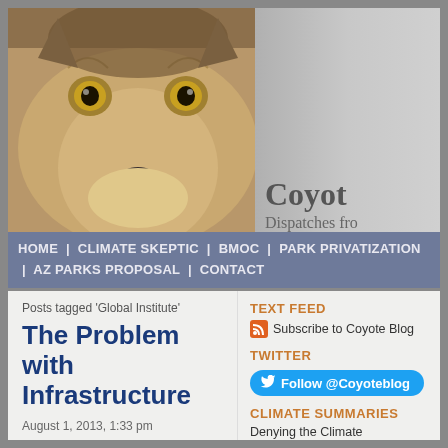[Figure (photo): Close-up photo of a coyote face with yellow eyes, combined with a winter trees background on the right side. Site header image.]
Coyot
Dispatches fro
HOME | CLIMATE SKEPTIC | BMOC | PARK PRIVATIZATION | AZ PARKS PROPOSAL | CONTACT
Posts tagged 'Global Institute'
The Problem with Infrastructure
August 1, 2013, 1:33 pm
TEXT FEED
Subscribe to Coyote Blog
TWITTER
Follow @Coyoteblog
CLIMATE SUMMARIES
Denying the Climate